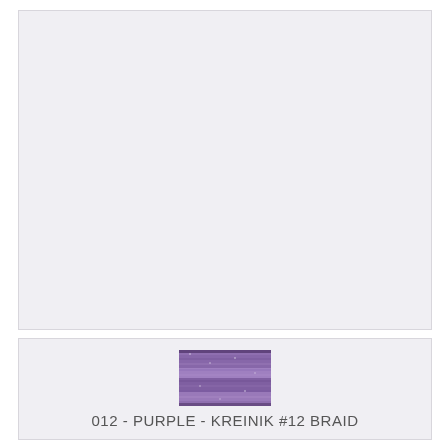[Figure (photo): Large light gray/lavender blank image area at the top of the page]
[Figure (photo): Small swatch of purple metallic/glitter Kreinik #12 braid thread in purple color]
012 - PURPLE - KREINIK #12 BRAID